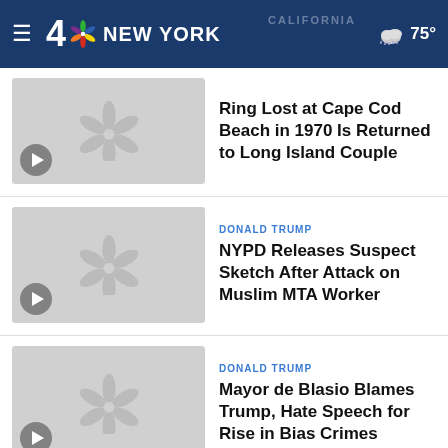NBC 4 New York — 75°
Ring Lost at Cape Cod Beach in 1970 Is Returned to Long Island Couple
DONALD TRUMP — NYPD Releases Suspect Sketch After Attack on Muslim MTA Worker
DONALD TRUMP — Mayor de Blasio Blames Trump, Hate Speech for Rise in Bias Crimes